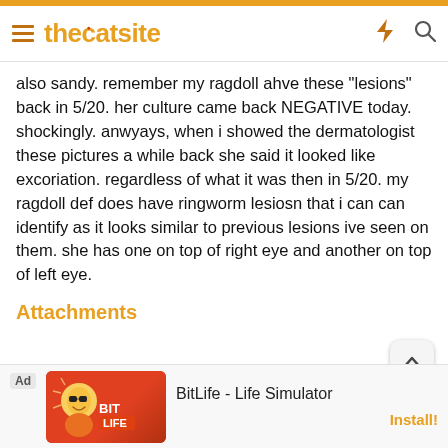thecatsite
also sandy. remember my ragdoll ahve these "lesions" back in 5/20. her culture came back NEGATIVE today. shockingly. anwyays, when i showed the dermatologist these pictures a while back she said it looked like excoriation. regardless of what it was then in 5/20. my ragdoll def does have ringworm lesiosn that i can can identify as it looks similar to previous lesions ive seen on them. she has one on top of right eye and another on top of left eye.
Attachments
[Figure (photo): Thumbnail photo showing a cat with purple gloves visible, close-up shot - left attachment]
[Figure (photo): Thumbnail photo showing purple fabric/glove with light colored object - right attachment]
[Figure (screenshot): Advertisement banner: BitLife - Life Simulator, with Install button]